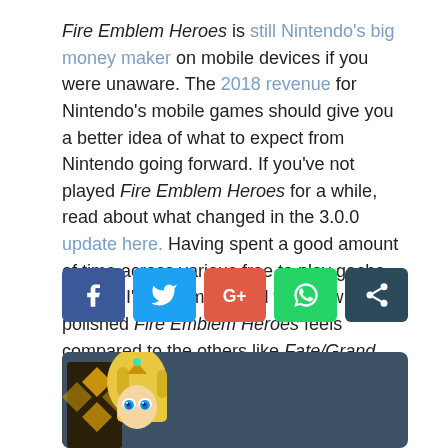Fire Emblem Heroes is still Nintendo's big money maker on mobile devices if you were unaware. The 2018 revenue for Nintendo's mobile games should give you a better idea of what to expect from Nintendo going forward. If you've not played Fire Emblem Heroes for a while, read about what changed in the 3.0.0 update here. Having spent a good amount of time across various free to play gacha games, I'm still impressed with how polished Fire Emblem Heroes feels compared to the others like Fate/Grand Order and even Dragalia Lost.
[Figure (infographic): Social media share buttons: Facebook (blue), Twitter (cyan), Google+ (red), WhatsApp (green), generic share (dark teal)]
[Figure (photo): Partial image of a Fire Emblem Heroes character with blonde hair and blue eyes on a dark blue-grey background]